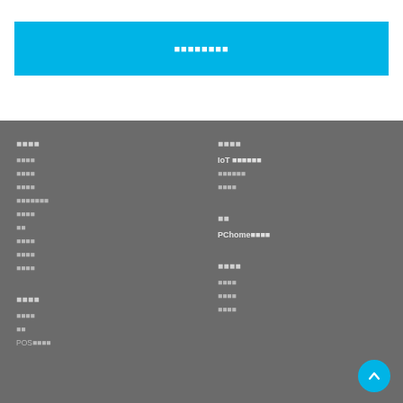■■■■■■■■
■■■■
■■■■
■■■■
■■■■
■■■■■■■
■■■■
■■
■■■■
■■■■
■■■■
■■■■
IoT ■■■■■■
■■■■■■
■■■■
■■
PChome■■■■
■■■■
■■■■
■■
POS■■■■
■■■■
■■■■
■■■■
■■■■